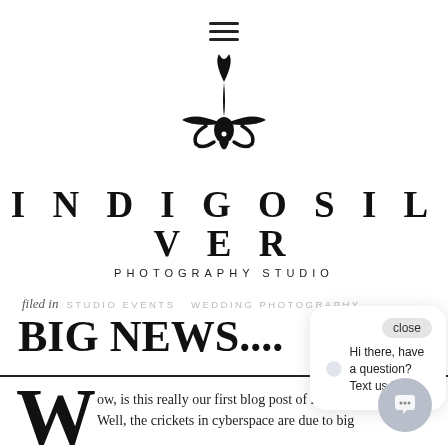[Figure (logo): Hamburger menu icon (three horizontal bars)]
[Figure (logo): Indigo Silver Photography Studio logo with fleur-de-lis symbol above text INDIGOSILVER PHOTOGRAPHY STUDIO]
filed in   STUDIO EVENTS   WEDDING PHOTOGRAPHY
BIG NEWS....
[Figure (screenshot): Chat popup overlay with close button and message: Hi there, have a question? Text us here.]
ow, is this really our first blog post of 2   Well, the crickets in cyberspace are due to big